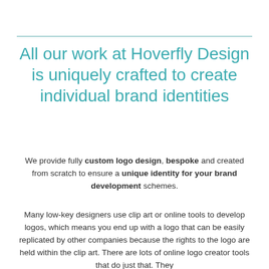All our work at Hoverfly Design is uniquely crafted to create individual brand identities
We provide fully custom logo design, bespoke and created from scratch to ensure a unique identity for your brand development schemes.
Many low-key designers use clip art or online tools to develop logos, which means you end up with a logo that can be easily replicated by other companies because the rights to the logo are held within the clip art. There are lots of online logo creator tools that do just that. They